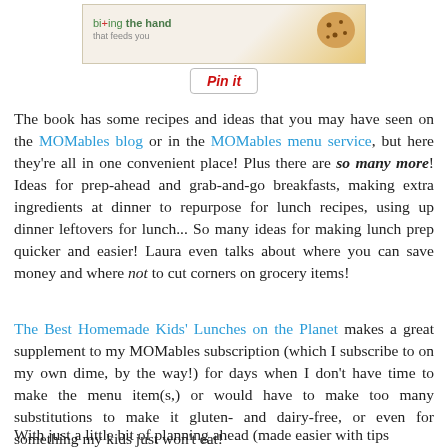[Figure (photo): Blog image header showing 'biting the hand that feeds you' logo with a cookie photo]
[Figure (other): Pin it button with red italic text and rounded border]
The book has some recipes and ideas that you may have seen on the MOMables blog or in the MOMables menu service, but here they're all in one convenient place! Plus there are so many more! Ideas for prep-ahead and grab-and-go breakfasts, making extra ingredients at dinner to repurpose for lunch recipes, using up dinner leftovers for lunch... So many ideas for making lunch prep quicker and easier! Laura even talks about where you can save money and where not to cut corners on grocery items!
The Best Homemade Kids' Lunches on the Planet makes a great supplement to my MOMables subscription (which I subscribe to on my own dime, by the way!) for days when I don't have time to make the menu item(s,) or would have to make too many substitutions to make it gluten- and dairy-free, or even for something my kids just won't eat!
With just a little bit of planning ahead (made easier with tips